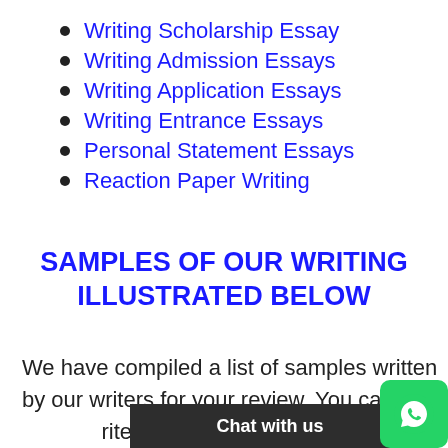Writing Scholarship Essay
Writing Admission Essays
Writing Application Essays
Writing Entrance Essays
Personal Statement Essays
Reaction Paper Writing
SAMPLES OF OUR WRITING ILLUSTRATED BELOW
We have compiled a list of samples written by our writers for your review. You can u[se them to] write you[r] paper. Yo[u can find t]he source